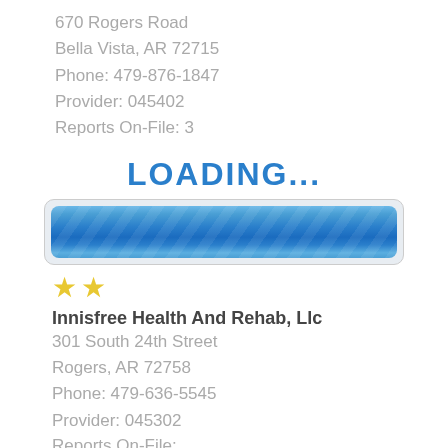670 Rogers Road
Bella Vista, AR 72715
Phone: 479-876-1847
Provider: 045402
Reports On-File: 3
LOADING...
[Figure (other): Blue progress bar indicating loading state, styled with gradient and diagonal stripe texture inside a rounded border container]
[Figure (other): Two gold/yellow star rating icons]
Innisfree Health And Rehab, Llc
301 South 24th Street
Rogers, AR 72758
Phone: 479-636-5545
Provider: 045302
Reports On-File: